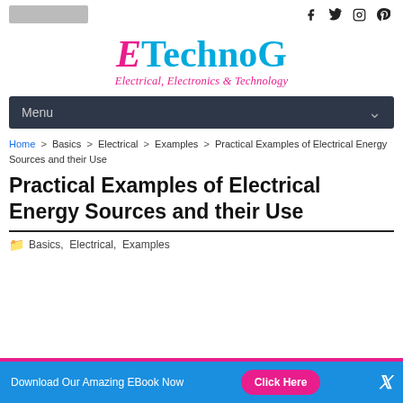ETechnoG — Electrical, Electronics & Technology
[Figure (logo): ETechnoG logo with pink italic E and cyan TechnoG text, tagline Electrical, Electronics & Technology in pink italic]
Menu
Home > Basics > Electrical > Examples > Practical Examples of Electrical Energy Sources and their Use
Practical Examples of Electrical Energy Sources and their Use
Basics, Electrical, Examples
Download Our Amazing EBook Now  Click Here